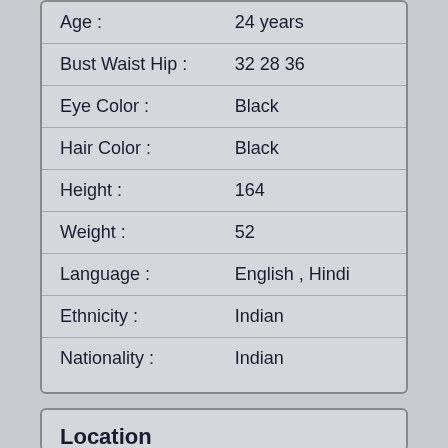| Field | Value |
| --- | --- |
| Age : | 24 years |
| Bust Waist Hip : | 32 28 36 |
| Eye Color : | Black |
| Hair Color : | Black |
| Height : | 164 |
| Weight : | 52 |
| Language : | English , Hindi |
| Ethnicity : | Indian |
| Nationality : | Indian |
Location
| Field | Value |
| --- | --- |
| Country : | India |